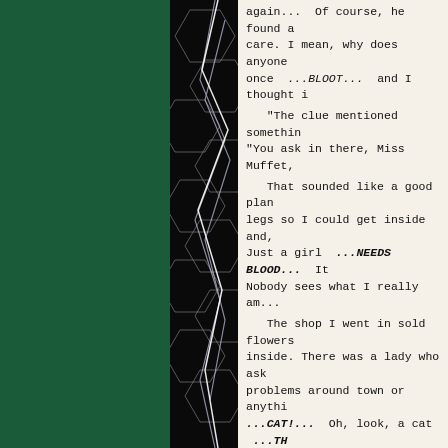[Figure (illustration): Dark cracked/fractured lightning pattern on black background panel on the left side, merging with a dark green panel]
again... Of course, he found a care. I mean, why does anyone once ...BLOOT... and I thought i "The clue mentioned somethin "You ask in there, Miss Muffet, That sounded like a good plan legs so I could get inside and, Just a girl ...NEEDS BLOOD... It Nobody sees what I really am... The shop I went in sold flowers inside. There was a lady who ask problems around town or anythi ...CAT!... Oh, look, a cat ...TH cat ...BLOODY FEEYE!.. and legs ...GRABB IT! GRABB IT G "No!" I just put my hands be pet the cat even though the lad "No, thank you. Um... I gotta g but thanks for the info." I... had to go.